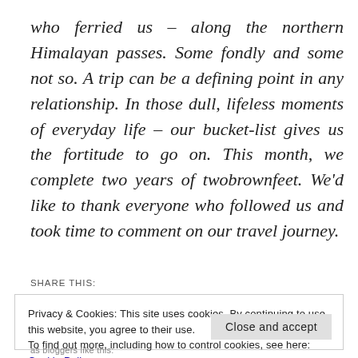who ferried us – along the northern Himalayan passes. Some fondly and some not so. A trip can be a defining point in any relationship. In those dull, lifeless moments of everyday life – our bucket-list gives us the fortitude to go on. This month, we complete two years of twobrownfeet. We'd like to thank everyone who followed us and took time to comment on our travel journey.
SHARE THIS:
Privacy & Cookies: This site uses cookies. By continuing to use this website, you agree to their use.
To find out more, including how to control cookies, see here: Cookie Policy
Close and accept
as bloggers like this: